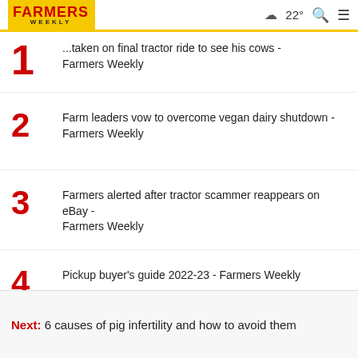Farmers Weekly | 22°
1. ...taken on final tractor ride to see his cows - Farmers Weekly
2. Farm leaders vow to overcome vegan dairy shutdown - Farmers Weekly
3. Farmers alerted after tractor scammer reappears on eBay - Farmers Weekly
4. Pickup buyer's guide 2022-23 - Farmers Weekly
Next: 6 causes of pig infertility and how to avoid them